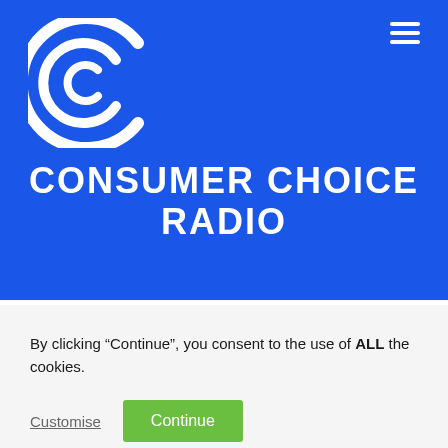[Figure (logo): Consumer Choice Radio logo — a stylized double-C letter mark in white on blue background]
CONSUMER CHOICE RADIO
By clicking “Continue”, you consent to the use of ALL the cookies.
Customise   Continue